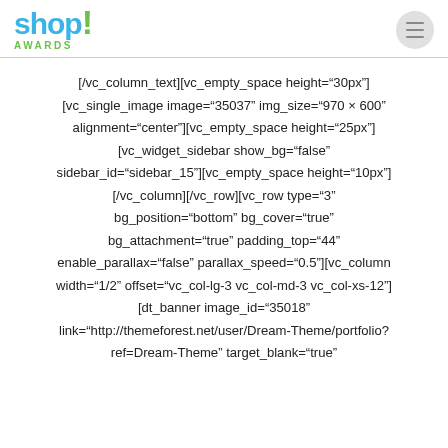[Figure (logo): Shop! Awards logo with teal 'shop!' text and green exclamation mark, with 'AWARDS' text below]
[/vc_column_text][vc_empty_space height="30px"] [vc_single_image image="35037" img_size="970 × 600" alignment="center"][vc_empty_space height="25px"] [vc_widget_sidebar show_bg="false" sidebar_id="sidebar_15"][vc_empty_space height="10px"] [/vc_column][/vc_row][vc_row type="3" bg_position="bottom" bg_cover="true" bg_attachment="true" padding_top="44" enable_parallax="false" parallax_speed="0.5"][vc_column width="1/2" offset="vc_col-lg-3 vc_col-md-3 vc_col-xs-12"] [dt_banner image_id="35018" link="http://themeforest.net/user/Dream-Theme/portfolio? ref=Dream-Theme" target_blank="true"